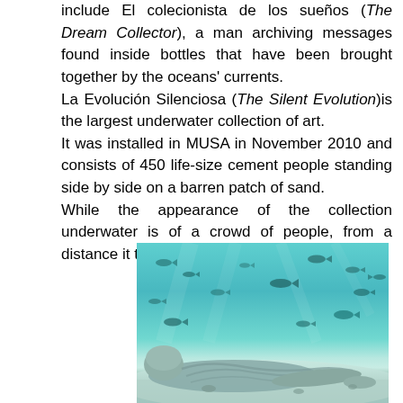include El colecionista de los sueños (The Dream Collector), a man archiving messages found inside bottles that have been brought together by the oceans' currents. La Evolución Silenciosa (The Silent Evolution)is the largest underwater collection of art. It was installed in MUSA in November 2010 and consists of 450 life-size cement people standing side by side on a barren patch of sand. While the appearance of the collection underwater is of a crowd of people, from a distance it take the shape of an eye.
[Figure (photo): Underwater photograph showing a cement statue lying on sandy ocean floor with fish swimming above in turquoise water, part of the MUSA underwater sculpture collection La Evolución Silenciosa (The Silent Evolution).]